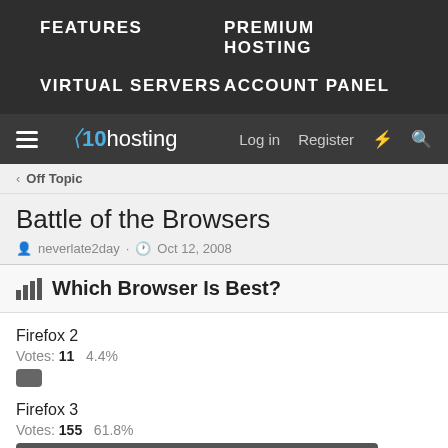FEATURES | PREMIUM HOSTING | VIRTUAL SERVERS | ACCOUNT PANEL
x10hosting | Log in | Register
< Off Topic
Battle of the Browsers
neverlate2day · Oct 12, 2008
Which Browser Is Best?
Firefox 2
Votes: 11  4.4%
Firefox 3
Votes: 155  61.8%